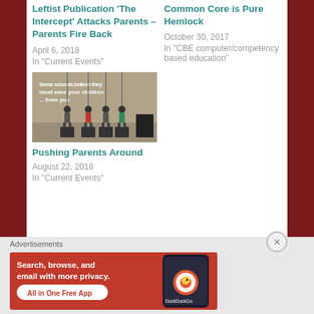Leftist Publication ‘The Intercept’ Attacks Parents – Parents Fire Back
April 6, 2018
In "Current Events"
Common Core is Pure Hemlock
October 30, 2017
In "CBE computer/competency based education"
[Figure (illustration): Illustration of children figures standing in a row with the text 'Some schools believe they must save your children ... from you']
Pushing Parents Around
August 22, 2018
In "Current Events"
Advertisements
[Figure (screenshot): DuckDuckGo advertisement banner: 'Search, browse, and email with more privacy. All in One Free App' on orange/red background with phone image and DuckDuckGo logo]